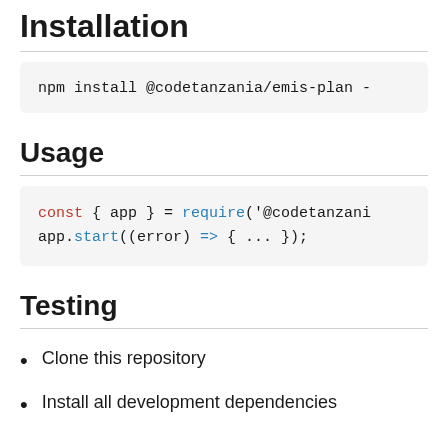Installation
npm install @codetanzania/emis-plan -
Usage
const { app } = require('@codetanzani
app.start((error) => { ... });
Testing
Clone this repository
Install all development dependencies